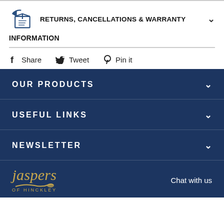RETURNS, CANCELLATIONS & WARRANTY INFORMATION
Share  Tweet  Pin it
OUR PRODUCTS
USEFUL LINKS
NEWSLETTER
[Figure (logo): Jaspers of Hinckley logo with gold italic serif text and feather/swirl motif]
Chat with us